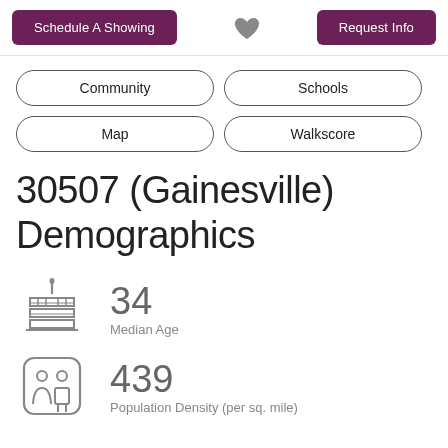Schedule A Showing | Request Info
Community
Schools
Map
Walkscore
30507 (Gainesville) Demographics
34
Median Age
439
Population Density (per sq. mile)